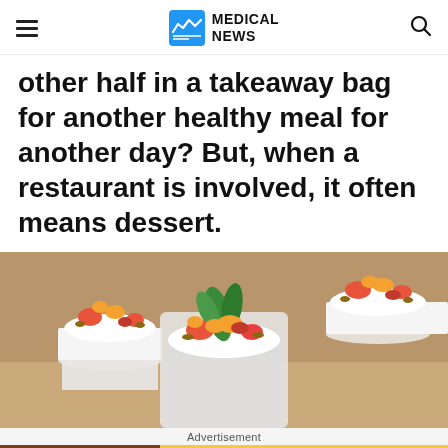MEDICAL NEWS
other half in a takeaway bag for another healthy meal for another day? But, when a restaurant is involved, it often means dessert.
[Figure (photo): Fruit parfait desserts in glass cups with whipped cream, fresh strawberries, mango, and mint garnish on a blurred background.]
Advertisement
[Figure (other): Advertisement banner: Eyewear for Your Journey - Timeless Styles, Unmatched Quality - Shop Now button]